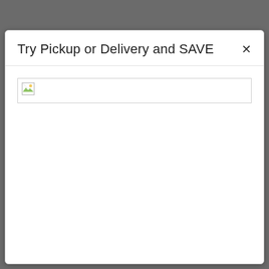Try Pickup or Delivery and SAVE
[Figure (screenshot): A broken image placeholder box with a small broken image icon in the top-left corner, contained within a thin border rectangle.]